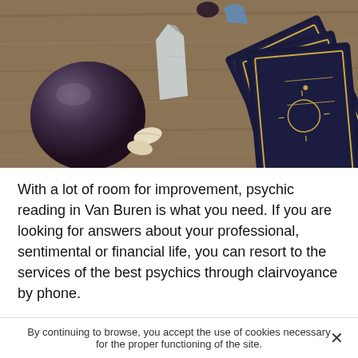[Figure (photo): A wooden table surface with a dark crystal ball, a clear quartz crystal, small shell cowries, a blue crystal, and a fan of dark tarot cards with gold decorative borders and illustrations.]
With a lot of room for improvement, psychic reading in Van Buren is what you need. If you are looking for answers about your professional, sentimental or financial life, you can resort to the services of the best psychics through clairvoyance by phone.
However, finding a serious psychic service in Van Buren that truly has this gift could be a real headache because of the multiplication of psychic reading experts in Little Rock
By continuing to browse, you accept the use of cookies necessary for the proper functioning of the site.